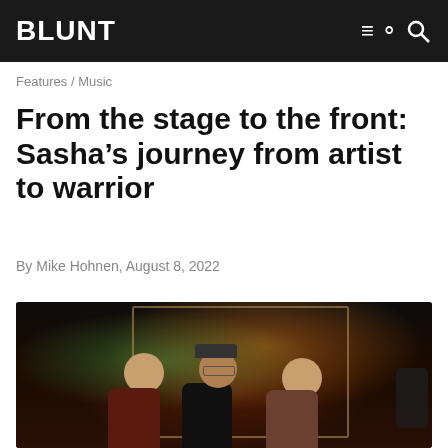BLUNT
Features / Music
From the stage to the front: Sasha’s journey from artist to warrior
By Mike Hohnen, August 8, 2022
[Figure (photo): Three people standing together in a dark, warmly lit venue or space, looking at the camera. The person on the left wears a dark red top, center person wears a black cap and glasses, right person wears a plaid shirt. Green and orange lighting in background.]